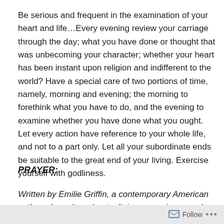Be serious and frequent in the examination of your heart and life…Every evening review your carriage through the day; what you have done or thought that was unbecoming your character; whether your heart has been instant upon religion and indifferent to the world? Have a special care of two portions of time, namely, morning and evening; the morning to forethink what you have to do, and the evening to examine whether you have done what you ought. Let every action have reference to your whole life, and not to a part only. Let all your subordinate ends be suitable to the great end of your living. Exercise yourself with godliness.
PRAYER:
Written by Emilie Griffin, a contemporary American author who writes about religious experience and spiritual life.
Follow